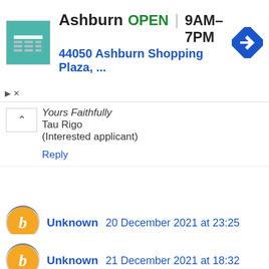[Figure (screenshot): Advertisement banner for Ashburn store showing OPEN status, hours 9AM-7PM, address 44050 Ashburn Shopping Plaza, with store icon and navigation arrow icon]
Yours Faithfully
Tau Rigo
(Interested applicant)
Reply
Unknown  20 December 2021 at 23:25
2021/2022 recruitment for the police force application form.
Email:caspergeorge8@gmail.com
Reply
Unknown  21 December 2021 at 18:32
Att: Recruitment Officer